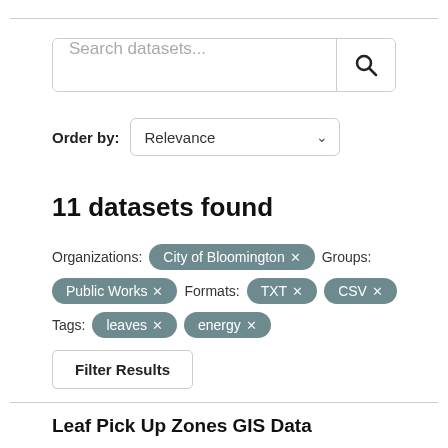Search datasets...
Order by: Relevance
11 datasets found
Organizations: City of Bloomington ×  Groups: Public Works ×  Formats: TXT × CSV ×  Tags: leaves × energy ×
Filter Results
Leaf Pick Up Zones GIS Data